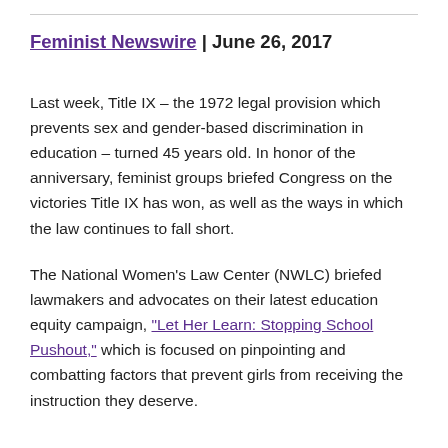Feminist Newswire | June 26, 2017
Last week, Title IX – the 1972 legal provision which prevents sex and gender-based discrimination in education – turned 45 years old. In honor of the anniversary, feminist groups briefed Congress on the victories Title IX has won, as well as the ways in which the law continues to fall short.
The National Women's Law Center (NWLC) briefed lawmakers and advocates on their latest education equity campaign, "Let Her Learn: Stopping School Pushout," which is focused on pinpointing and combatting factors that prevent girls from receiving the instruction they deserve.